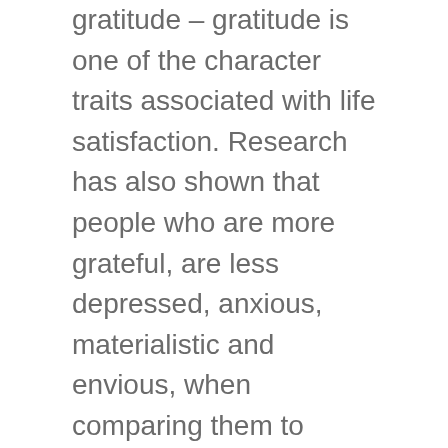gratitude – gratitude is one of the character traits associated with life satisfaction. Research has also shown that people who are more grateful, are less depressed, anxious, materialistic and envious, when comparing them to those who do not practice gratitude.
Practice Makes Perfect
The best part about gratitude is that it can indeed be practiced.
It might be a good idea for us, as parents, to try and turn the practice of gratitude into a family ritual.